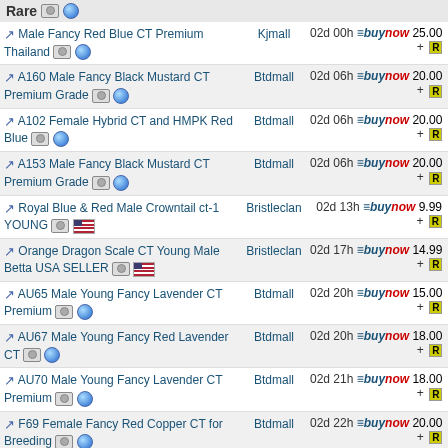Rare
Male Fancy Red Blue CT Premium Thailand | Kjmall | 02d 00h | buynow 25.00 + R
A160 Male Fancy Black Mustard CT Premium Grade | Btdmall | 02d 06h | buynow 20.00 + R
A102 Female Hybrid CT and HMPK Red Blue | Btdmall | 02d 06h | buynow 20.00 + R
A153 Male Fancy Black Mustard CT Premium Grade | Btdmall | 02d 06h | buynow 20.00 + R
Royal Blue & Red Male Crowntail ct-1 YOUNG | Bristleclan | 02d 13h | buynow 9.99 + R
Orange Dragon Scale CT Young Male Betta USA SELLER | Bristleclan | 02d 17h | buynow 14.99 + R
AU65 Male Young Fancy Lavender CT Premium | Btdmall | 02d 20h | buynow 15.00 + R
AU67 Male Young Fancy Red Lavender CT | Btdmall | 02d 20h | buynow 18.00 + R
AU70 Male Young Fancy Lavender CT Premium | Btdmall | 02d 21h | buynow 18.00 + R
F69 Female Fancy Red Copper CT for Breeding | Btdmall | 02d 22h | buynow 20.00 + R